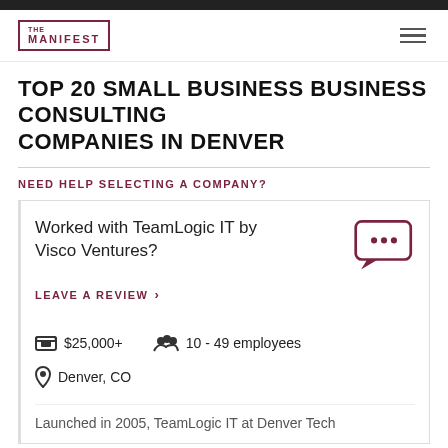THE MANIFEST
TOP 20 SMALL BUSINESS BUSINESS CONSULTING COMPANIES IN DENVER
NEED HELP SELECTING A COMPANY?
Worked with TeamLogic IT by Visco Ventures?
LEAVE A REVIEW
$25,000+
10 - 49 employees
Denver, CO
Launched in 2005, TeamLogic IT at Denver Tech